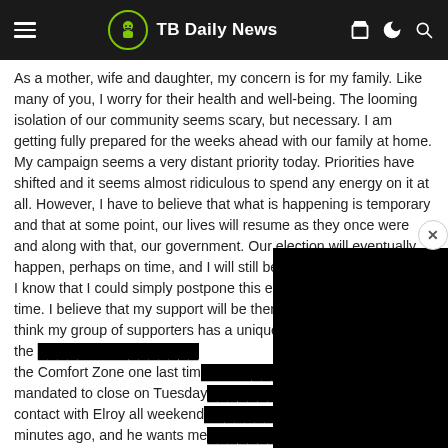TB Daily News
As a mother, wife and daughter, my concern is for my family. Like many of you, I worry for their health and well-being. The looming isolation of our community seems scary, but necessary. I am getting fully prepared for the weeks ahead with our family at home.
My campaign seems a very distant priority today. Priorities have shifted and it seems almost ridiculous to spend any energy on it at all. However, I have to believe that what is happening is temporary and that at some point, our lives will resume as they once were and along with that, our government. Our election will eventually happen, perhaps on time, and I will still be ready.
I know that I could simply postpone this event to a later date and time. I believe that my support will be there just the same. But I think my group of supporters has a unique opportunity to help the Comfort Zone one last time mandated to close on Tuesday contact with Elroy all weekend minutes ago, and he wants me tomorrow. While he has not st